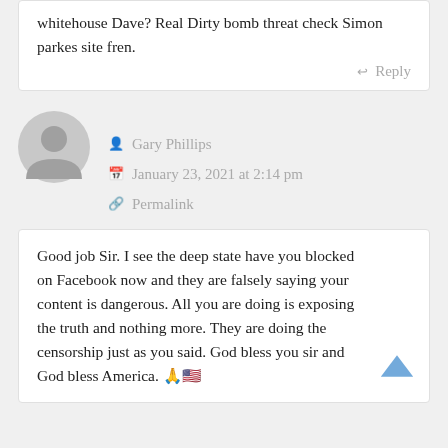whitehouse Dave? Real Dirty bomb threat check Simon parkes site fren.
Reply
[Figure (illustration): Gray default user avatar circle with silhouette]
Gary Phillips
January 23, 2021 at 2:14 pm
Permalink
Good job Sir. I see the deep state have you blocked on Facebook now and they are falsely saying your content is dangerous. All you are doing is exposing the truth and nothing more. They are doing the censorship just as you said. God bless you sir and God bless America. 🙏🇺🇸